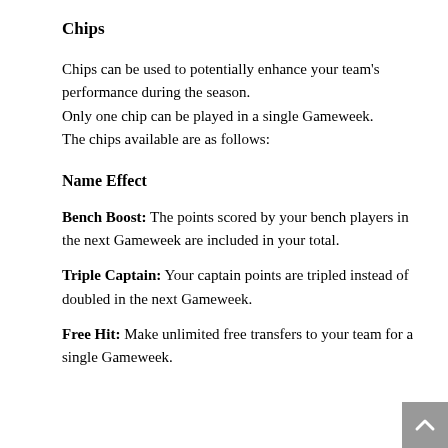Chips
Chips can be used to potentially enhance your team's performance during the season.
Only one chip can be played in a single Gameweek.
The chips available are as follows:
Name Effect
Bench Boost: The points scored by your bench players in the next Gameweek are included in your total.
Triple Captain: Your captain points are tripled instead of doubled in the next Gameweek.
Free Hit: Make unlimited free transfers to your team for a single Gameweek.